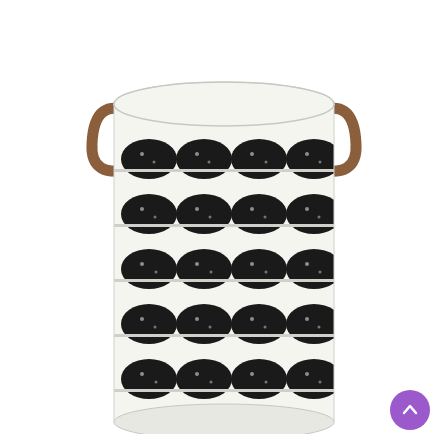[Figure (photo): A cylindrical fabric laundry basket/hamper in white with black half-circle (scallop) print pattern arranged in horizontal rows. The basket has two brown leather loop handles attached near the top. The basket sits on a white background.]